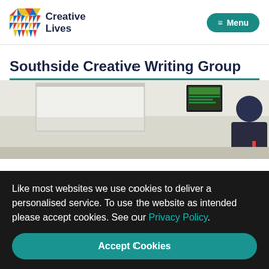Creative Lives | Menu
Southside Creative Writing Group
[Figure (photo): Background photo of a room with whiteboard/shelving area and a person seated, partially visible on the right side.]
Like most websites we use cookies to deliver a personalised service. To use the website as intended please accept cookies. See our Privacy Policy.
Accept Cookies